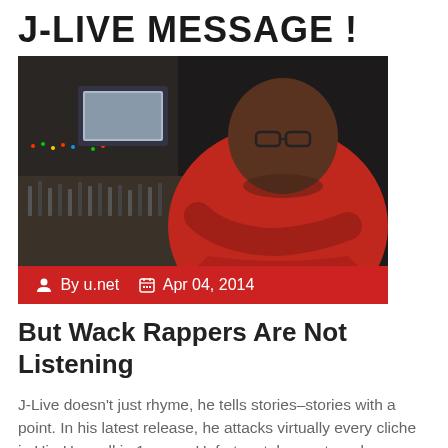J-LIVE MESSAGE !
[Figure (photo): Photo of J-Live, a rapper/producer, sitting in a recording studio with mixing equipment visible in the background. He is wearing a red top and has glasses.]
By u.net   Apr 04, 2014
But Wack Rappers Are Not Listening
J-Live doesn't just rhyme, he tells stories–stories with a point. In his latest release, he attacks virtually every cliche in Hip-Hop, all in 1 verse. Unfortunately, most wack rappers are Not Listening. Check it out. [...]
>> Read More